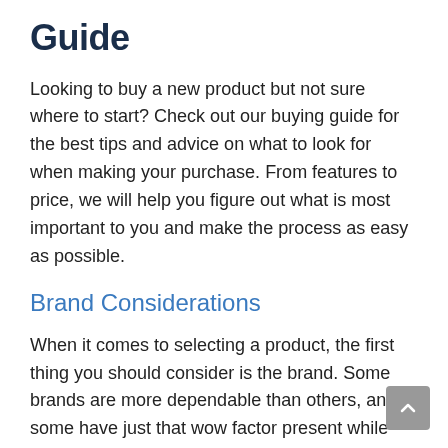Guide
Looking to buy a new product but not sure where to start? Check out our buying guide for the best tips and advice on what to look for when making your purchase. From features to price, we will help you figure out what is most important to you and make the process as easy as possible.
Brand Considerations
When it comes to selecting a product, the first thing you should consider is the brand. Some brands are more dependable than others, and some have just that wow factor present while some do not. You should research several brands and compare their ratings in order to